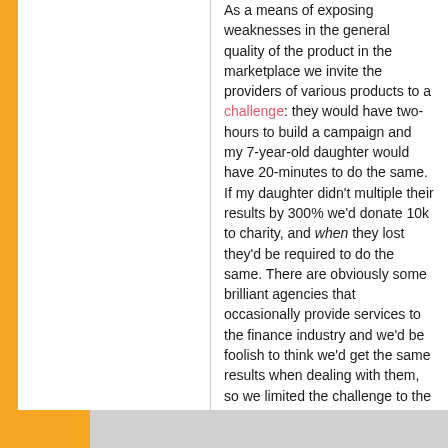As a means of exposing weaknesses in the general quality of the product in the marketplace we invite the providers of various products to a challenge: they would have two-hours to build a campaign and my 7-year-old daughter would have 20-minutes to do the same. If my daughter didn't multiple their results by 300% we'd donate 10k to charity, and when they lost they'd be required to do the same. There are obviously some brilliant agencies that occasionally provide services to the finance industry and we'd be foolish to think we'd get the same results when dealing with them, so we limited the challenge to the most offensive programs, with invitations sent to each of these businesses directly... but we obviously didn't get a response. We introduced this challenge when my eldest daughter was only 6, and she's nearly 8, so we'll be putting this program to bed shortly simply because it has become clear that we're not going to attract any participants. Certainly, integrating your marketing funnel, or lack of